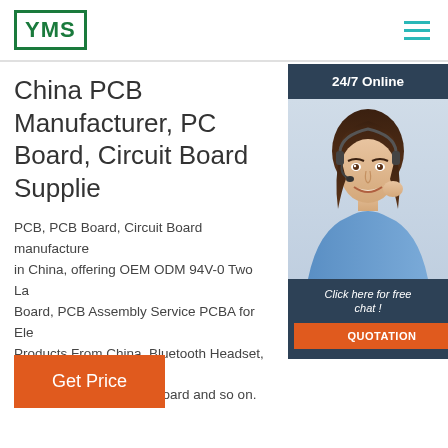YMS | navigation menu
[Figure (screenshot): Customer support agent photo with 24/7 Online chat widget overlay on the right side]
China PCB Manufacturer, PCB Board, Circuit Board Supplier
PCB, PCB Board, Circuit Board manufacturer in China, offering OEM ODM 94V-0 Two Layer Board, PCB Assembly Service PCBA for Electronics Products From China, Bluetooth Headset, AC Adapter Printed Circuit Board and so on.
Get Price